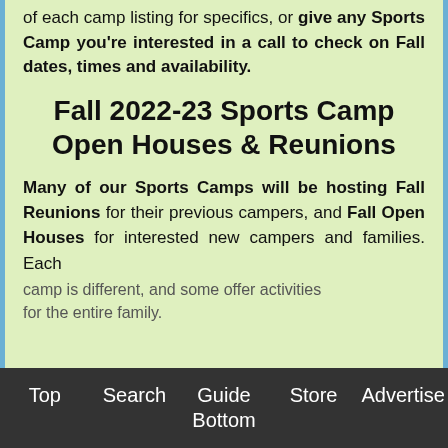of each camp listing for specifics, or give any Sports Camp you're interested in a call to check on Fall dates, times and availability.
Fall 2022-23 Sports Camp Open Houses & Reunions
Many of our Sports Camps will be hosting Fall Reunions for their previous campers, and Fall Open Houses for interested new campers and families. Each camp is different, and some offer activities for the entire family.
Top  Search  Guide  Store  Advertise  Bottom